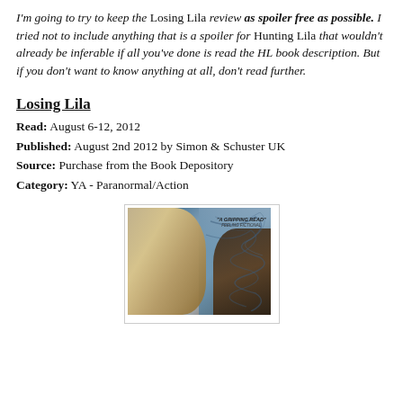I'm going to try to keep the Losing Lila review as spoiler free as possible. I tried not to include anything that is a spoiler for Hunting Lila that wouldn't already be inferable if all you've done is read the HL book description. But if you don't want to know anything at all, don't read further.
Losing Lila
Read: August 6-12, 2012
Published: August 2nd 2012 by Simon & Schuster UK
Source: Purchase from the Book Depository
Category: YA - Paranormal/Action
[Figure (photo): Book cover of Losing Lila showing a young woman with long blonde hair blowing across her face, dark hair on right side, against a blue swirling background. Text overlay reads 'A GRIPPING READ' FEELING FICTIONAL on Hunting Lila.]